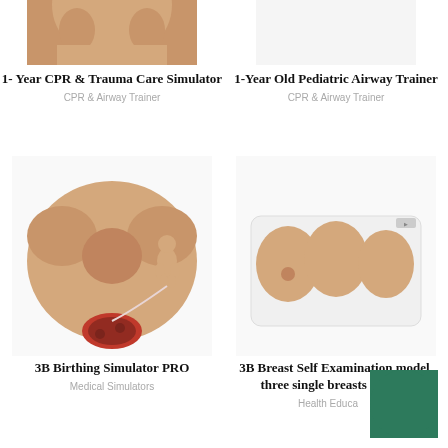[Figure (photo): 1-Year CPR & Trauma Care Simulator - top portion of infant mannequin visible]
[Figure (photo): 1-Year Old Pediatric Airway Trainer - not fully visible]
1- Year CPR & Trauma Care Simulator
CPR & Airway Trainer
1-Year Old Pediatric Airway Trainer
CPR & Airway Trainer
[Figure (photo): 3B Birthing Simulator PRO - birthing simulator with infant and placenta]
[Figure (photo): 3B Breast Self Examination model with three single breasts on base]
3B Birthing Simulator PRO
Medical Simulators
3B Breast Self Examination model, three single breasts on base
Health Education